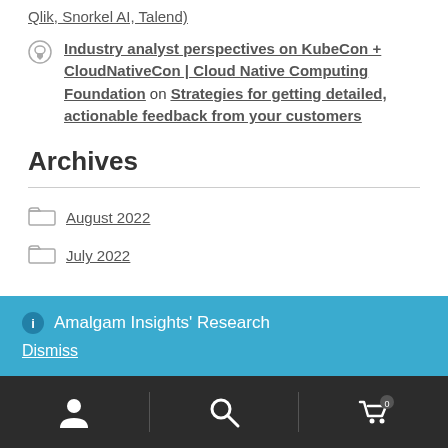Qlik, Snorkel AI, Talend)
Industry analyst perspectives on KubeCon + CloudNativeCon | Cloud Native Computing Foundation on Strategies for getting detailed, actionable feedback from your customers
Archives
August 2022
July 2022
Amalgam Insights' Research
Dismiss